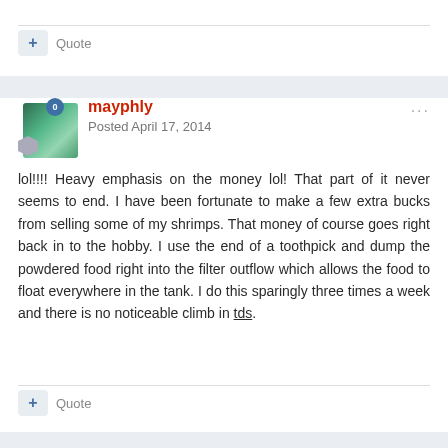Quote
mayphly
Posted April 17, 2014
lol!!!! Heavy emphasis on the money lol! That part of it never seems to end. I have been fortunate to make a few extra bucks from selling some of my shrimps. That money of course goes right back in to the hobby. I use the end of a toothpick and dump the powdered food right into the filter outflow which allows the food to float everywhere in the tank. I do this sparingly three times a week and there is no noticeable climb in tds.
Quote